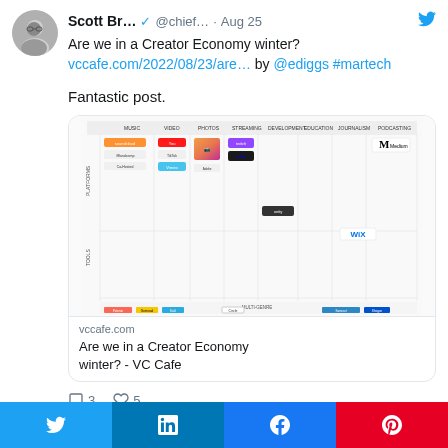Scott Br... @chief… · Aug 25
Are we in a Creator Economy winter? vccafe.com/2022/08/23/are… by @ediggs #martech
Fantastic post.
[Figure (screenshot): Creator Economy landscape map showing platforms and tools across Music, Video, Photos, Streaming, Development, Education, Journalism, Podcasting categories with logos of various companies]
vccafe.com
Are we in a Creator Economy winter? - VC Cafe
3  5
Share buttons: Twitter, LinkedIn, Facebook, Pinterest